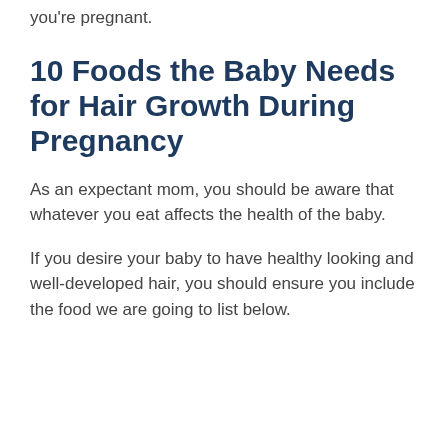you're pregnant.
10 Foods the Baby Needs for Hair Growth During Pregnancy
As an expectant mom, you should be aware that whatever you eat affects the health of the baby.
If you desire your baby to have healthy looking and well-developed hair, you should ensure you include the food we are going to list below.